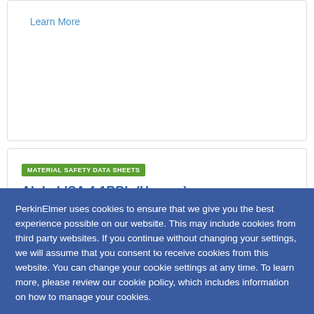Learn More
MATERIAL SAFETY DATA SHEETS
AlphaLISA 4-1BBL (Human) Detection Kit (5000 points)
PerkinElmer uses cookies to ensure that we give you the best experience possible on our website. This may include cookies from third party websites. If you continue without changing your settings, we will assume that you consent to receive cookies from this website. You can change your cookie settings at any time. To learn more, please review our cookie policy, which includes information on how to manage your cookies.
CONTINUE
MATERIAL SAFETY DATA SHEETS
AlphaLISA TREM2 (Human) Detection Kit (100 points)
Learn More